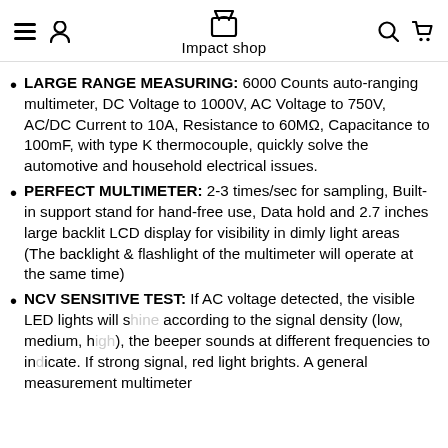Impact shop
LARGE RANGE MEASURING: 6000 Counts auto-ranging multimeter, DC Voltage to 1000V, AC Voltage to 750V, AC/DC Current to 10A, Resistance to 60MΩ, Capacitance to 100mF, with type K thermocouple, quickly solve the automotive and household electrical issues.
PERFECT MULTIMETER: 2-3 times/sec for sampling, Built-in support stand for hand-free use, Data hold and 2.7 inches large backlit LCD display for visibility in dimly light areas (The backlight & flashlight of the multimeter will operate at the same time)
NCV SENSITIVE TEST: If AC voltage detected, the visible LED lights will shine according to the signal density (low, medium, high), the beeper sounds at different frequencies to indicate. If strong signal, red light brights. A general measurement multimeter